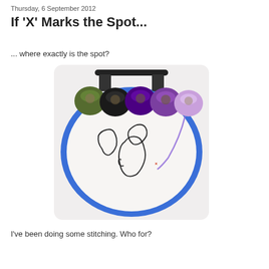Thursday, 6 September 2012
If 'X' Marks the Spot...
... where exactly is the spot?
[Figure (photo): An embroidery hoop with an outline of the British Isles stitched in dark thread on white fabric. Five balls of yarn/thread rest on top — olive green, black, dark purple, medium purple, and light lavender — with a purple thread trailing down to a small red X mark on the map of England.]
I've been doing some stitching. Who for?